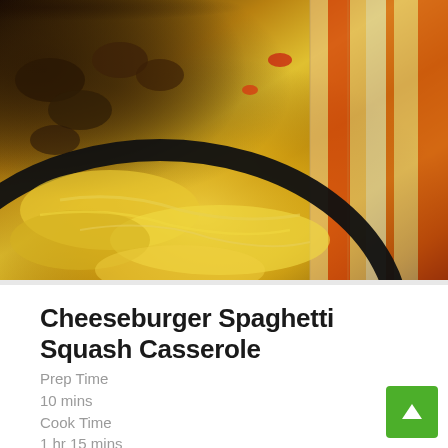[Figure (photo): Close-up photo of Cheeseburger Spaghetti Squash Casserole in a dark skillet, showing melted cheese, ground beef, and vegetables, with a striped cloth napkin in the background]
Cheeseburger Spaghetti Squash Casserole
Prep Time
10 mins
Cook Time
1 hr 15 mins
Total Time
1 hr 25 mins